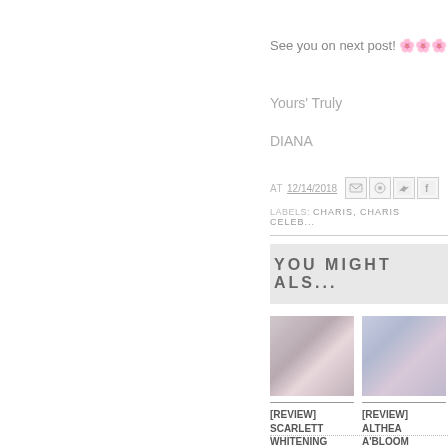See you on next post! 🌸🌸🌸
Yours' Truly
DIANA
AT 12/14/2018
LABELS: CHARIS, CHARIS CELEB...
YOU MIGHT ALS...
[Figure (photo): Photo of woman with beauty products]
[REVIEW] SCARLETT WHITENING BODY CA...
[Figure (photo): Photo of floral gift boxes]
[REVIEW] ALTHEA A'BLOOM MERINGUE PU...